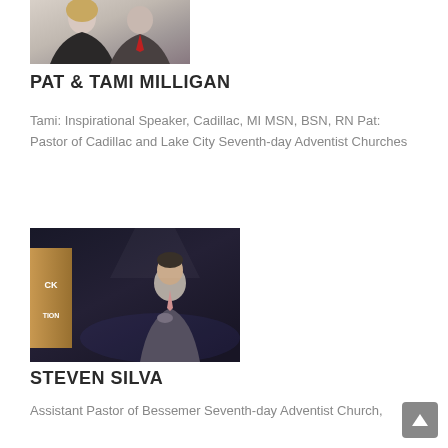[Figure (photo): Photo of Pat and Tami Milligan couple, woman with blonde hair on left, man in suit on right]
PAT & TAMI MILLIGAN
Tami: Inspirational Speaker, Cadillac, MI MSN, BSN, RN Pat: Pastor of Cadillac and Lake City Seventh-day Adventist Churches
[Figure (photo): Photo of Steven Silva speaking at a podium on a dark stage, with a banner reading ROCK FOUNDATION visible on the left]
STEVEN SILVA
Assistant Pastor of Bessemer Seventh-day Adventist Church,